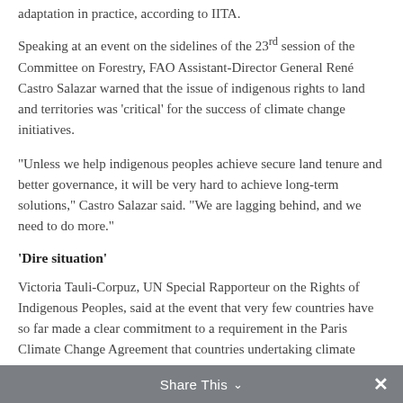adaptation in practice, according to IITA.
Speaking at an event on the sidelines of the 23rd session of the Committee on Forestry, FAO Assistant-Director General René Castro Salazar warned that the issue of indigenous rights to land and territories was 'critical' for the success of climate change initiatives.
“Unless we help indigenous peoples achieve secure land tenure and better governance, it will be very hard to achieve long-term solutions,” Castro Salazar said. “We are lagging behind, and we need to do more.”
‘Dire situation’
Victoria Tauli-Corpuz, UN Special Rapporteur on the Rights of Indigenous Peoples, said at the event that very few countries have so far made a clear commitment to a requirement in the Paris Climate Change Agreement that countries undertaking climate change activities should ensure the rights of
Share This